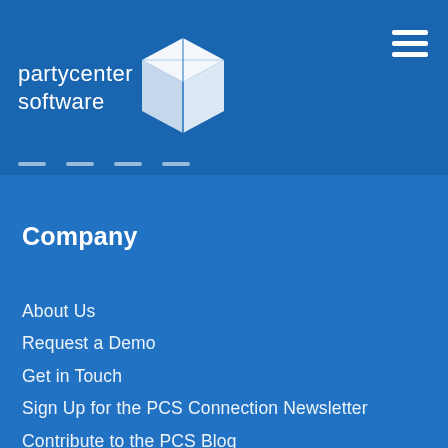[Figure (logo): Party Center Software logo with white cube icon and text 'partycenter software' on blue background header]
Company
About Us
Request a Demo
Get in Touch
Sign Up for the PCS Connection Newsletter
Contribute to the PCS Blog
Privacy Policy & Terms of Use